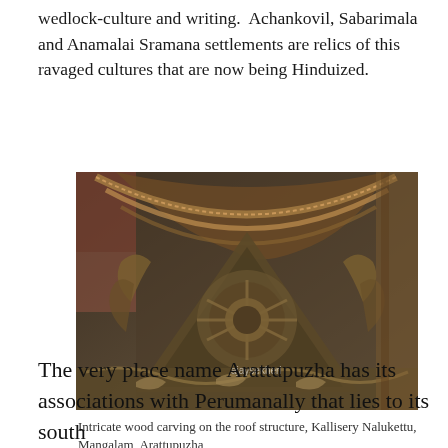wedlock-culture and writing. Achankovil, Sabarimala and Anamalai Sramana settlements are relics of this ravaged cultures that are now being Hinduized.
[Figure (photo): Close-up photograph of intricate wood carving on the roof structure of Kallisery Nalukettu, showing detailed ornamental carvings with floral and geometric patterns, photographed from below looking up. Watermark 'ajaysekheri' visible.]
Intricate wood carving on the roof structure, Kallisery Nalukettu, Mangalam, Arattupuzha
The very place name Arattupuzha has its associations with Perumanally that lies to its south